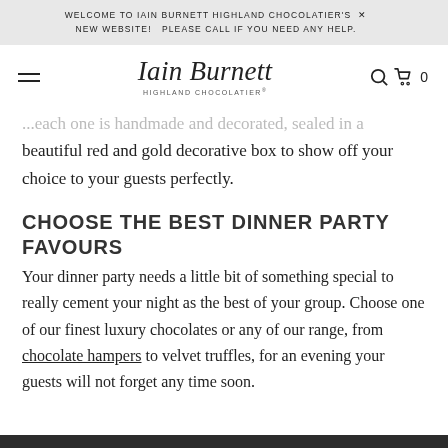WELCOME TO IAIN BURNETT HIGHLAND CHOCOLATIER'S NEW WEBSITE!  PLEASE CALL IF YOU NEED ANY HELP.
[Figure (logo): Iain Burnett Highland Chocolatier logo with script name and hamburger menu, search and cart icons]
...each one is handmade and decorated, sealed in a beautiful red and gold decorative box to show off your choice to your guests perfectly.
CHOOSE THE BEST DINNER PARTY FAVOURS
Your dinner party needs a little bit of something special to really cement your night as the best of your group. Choose one of our finest luxury chocolates or any of our range, from chocolate hampers to velvet truffles, for an evening your guests will not forget any time soon.